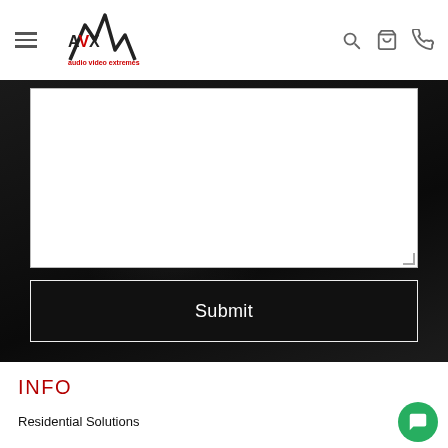[Figure (logo): AVX Audio Video Extremes logo with lightning bolt graphic]
[Figure (screenshot): Navigation header with hamburger menu, search icon, cart icon, and phone icon]
[Figure (screenshot): Large white textarea input field on dark background]
Submit
INFO
Residential Solutions